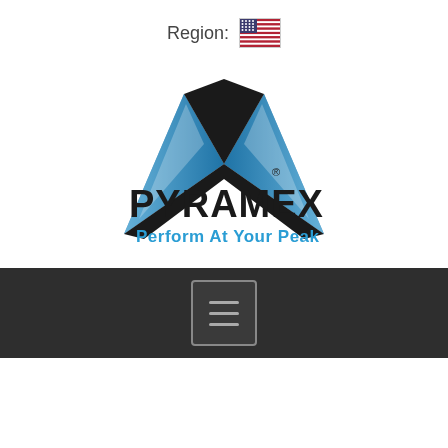Region:
[Figure (illustration): US flag icon next to region label]
[Figure (logo): Pyramex logo with tagline: Perform At Your Peak]
[Figure (other): Dark navigation bar with hamburger menu button (three horizontal lines)]